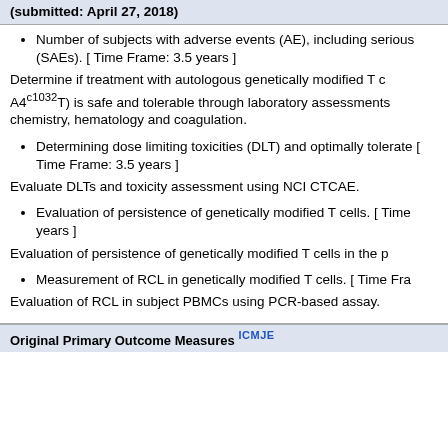(submitted: April 27, 2018)
Number of subjects with adverse events (AE), including serious (SAEs). [ Time Frame: 3.5 years ]
Determine if treatment with autologous genetically modified T c A4c1032T) is safe and tolerable through laboratory assessments chemistry, hematology and coagulation.
Determining dose limiting toxicities (DLT) and optimally tolerate [ Time Frame: 3.5 years ]
Evaluate DLTs and toxicity assessment using NCI CTCAE.
Evaluation of persistence of genetically modified T cells. [ Time years ]
Evaluation of persistence of genetically modified T cells in the p
Measurement of RCL in genetically modified T cells. [ Time Fra
Evaluation of RCL in subject PBMCs using PCR-based assay.
Original Primary Outcome Measures ICMJE